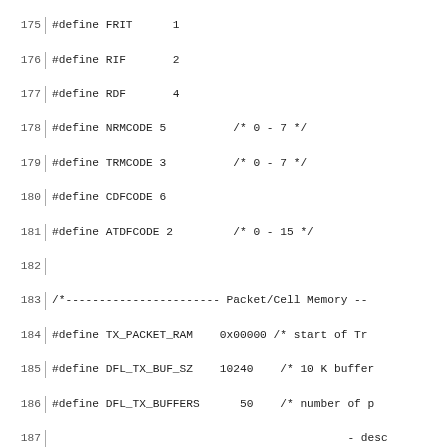Source code listing lines 175-204 showing C preprocessor defines and struct definitions for a networking/ATM driver including FRIT, RIF, RDF, NRMCODE, TRMCODE, CDFCODE, ATDFCODE defines, Packet/Cell Memory defines (TX_PACKET_RAM, DFL_TX_BUF_SZ, DFL_TX_BUFFERS, REASS_RAM_SIZE, RX_PACKET_RAM, DFL_RX_BUF_SZ, DFL_RX_BUFFERS), and structs cpcs_trailer and cpcs_trailer_desc.